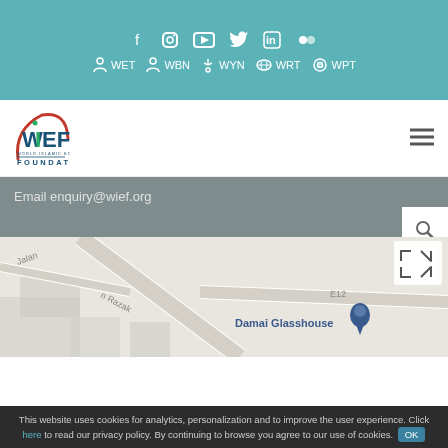[Figure (screenshot): WIEF Foundation website screenshot showing teal top navigation bar with social media icons (Facebook, Instagram, YouTube, Twitter, LinkedIn, Flickr) and nav links (WET, WBN, WYN, WRT, WPT), WIEF Foundation logo, email contact bar, search icon, embedded Google Map showing Jalan, Razak road, E12, and Damai Glasshouse location pin, and cookie consent bar at bottom.]
Email enquiry@wief.org
This website uses cookies for analytics, personalization and to improve the user experience. Click here to read our privacy policy. By continuing to browse you agree to our use of cookies. OK